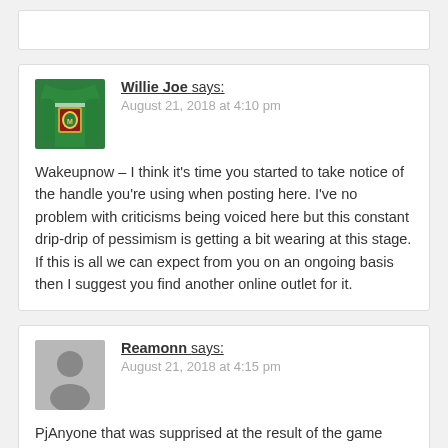[partial comment box at top]
Willie Joe says:
August 21, 2018 at 4:10 pm
Wakeupnow – I think it's time you started to take notice of the handle you're using when posting here. I've no problem with criticisms being voiced here but this constant drip-drip of pessimism is getting a bit wearing at this stage. If this is all we can expect from you on an ongoing basis then I suggest you find another online outlet for it.
Reamonn says:
August 21, 2018 at 4:15 pm
PjAnyone that was supprised at the result of the game yesterday should look at galway's results in finals which now